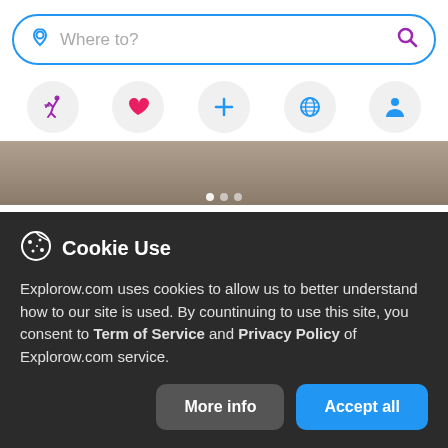[Figure (screenshot): Search bar with location pin icon and search icon, placeholder text 'Where to?']
[Figure (screenshot): Navigation icon row with five circular icon buttons: running figure (purple), heart (red/pink), plus (blue), globe (blue), person (blue)]
[Figure (photo): Partial image of a wooden surface or carousel, with pagination dots at bottom]
visitbuffaloniagara.com
Herschell Carrousel Factory Museum
The Herschell Carrousel Factory Museum
Cookie Use
Explorow.com uses cookies to allow us to better understand how to our site is used. By countinuing to use this site, you consent to Term of Service and Privacy Policy of Explorow.com service.
[Figure (screenshot): Two buttons: 'More info' (grey) and 'Accept all' (blue)]